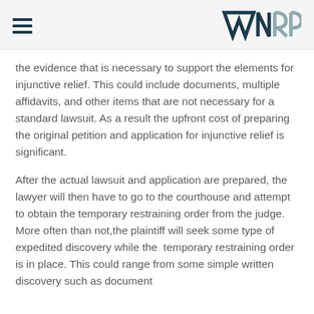WRP (logo)
the evidence that is necessary to support the elements for injunctive relief. This could include documents, multiple affidavits, and other items that are not necessary for a standard lawsuit. As a result the upfront cost of preparing the original petition and application for injunctive relief is significant.
After the actual lawsuit and application are prepared, the lawyer will then have to go to the courthouse and attempt to obtain the temporary restraining order from the judge. More often than not,the plaintiff will seek some type of expedited discovery while the  temporary restraining order is in place. This could range from some simple written discovery such as document